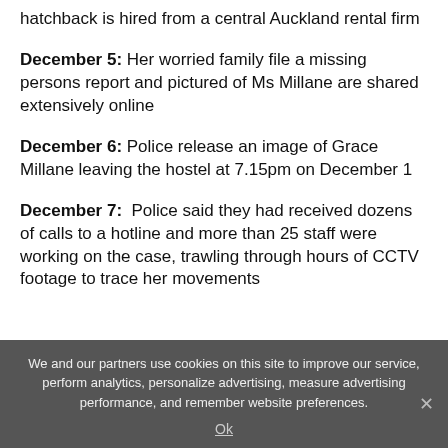hatchback is hired from a central Auckland rental firm
December 5: Her worried family file a missing persons report and pictured of Ms Millane are shared extensively online
December 6: Police release an image of Grace Millane leaving the hostel at 7.15pm on December 1
December 7:  Police said they had received dozens of calls to a hotline and more than 25 staff were working on the case, trawling through hours of CCTV footage to trace her movements
We and our partners use cookies on this site to improve our service, perform analytics, personalize advertising, measure advertising performance, and remember website preferences.
Ok